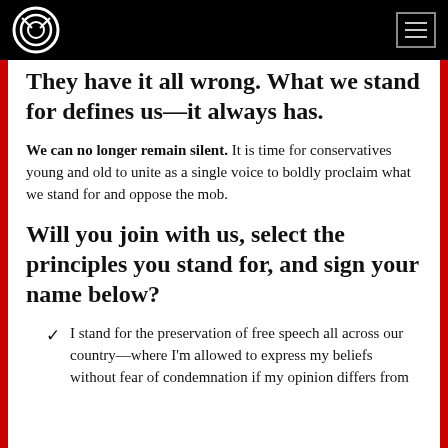Consumers' Research logo and navigation menu
They have it all wrong. What we stand for defines us—it always has.
We can no longer remain silent. It is time for conservatives young and old to unite as a single voice to boldly proclaim what we stand for and oppose the mob.
Will you join with us, select the principles you stand for, and sign your name below?
I stand for the preservation of free speech all across our country—where I'm allowed to express my beliefs without fear of condemnation if my opinion differs from